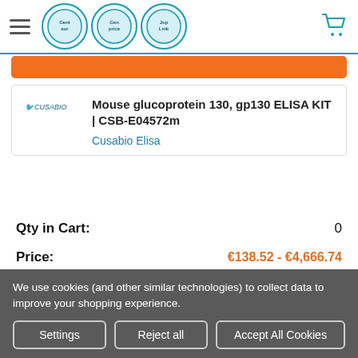Gentaur | Genprice | JopLink header navigation with cart
Mouse glucoprotein 130, gp130 ELISA KIT | CSB-E04572m
Cusabio Elisa
Qty in Cart:	0
Price:	€138.52 - €4,666.74
Subtotal:
CHOOSE OPTIONS
We use cookies (and other similar technologies) to collect data to improve your shopping experience.
Settings
Reject all
Accept All Cookies